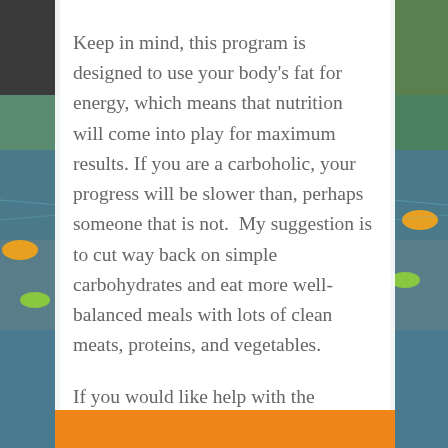[Figure (photo): Background photo of people swimming/kayaking in water with colorful kayaks, visible on left and right sides of the page]
Keep in mind, this program is designed to use your body's fat for energy, which means that nutrition will come into play for maximum results. If you are a carboholic, your progress will be slower than, perhaps someone that is not.  My suggestion is to cut way back on simple carbohydrates and eat more well-balanced meals with lots of clean meats, proteins, and vegetables.
If you would like help with the process, click below.